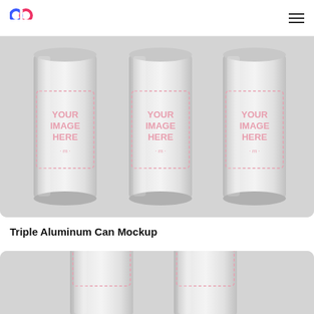Mediamodifier logo and navigation
[Figure (photo): Three aluminum cans mockup arranged side by side on a light gray background, each showing 'YOUR IMAGE HERE' placeholder text with a pink Mediamodifier logo]
Triple Aluminum Can Mockup
[Figure (photo): Two aluminum cans mockup partially visible at the bottom of the page, showing 'YOUR' placeholder text, on a light gray background]